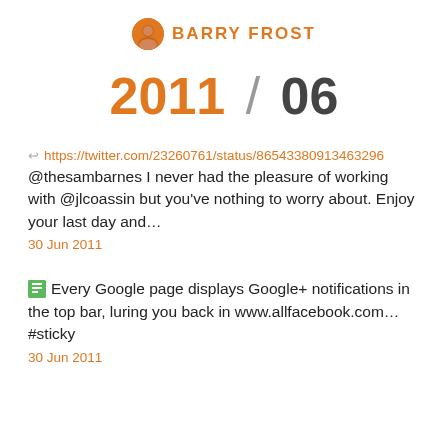BARRY FROST
2011 / 06
↩ https://twitter.com/23260761/status/86543380913463296
@thesambarnes I never had the pleasure of working with @jlcoassin but you've nothing to worry about. Enjoy your last day and...
30 Jun 2011
Every Google page displays Google+ notifications in the top bar, luring you back in www.allfacebook.com... #sticky
30 Jun 2011